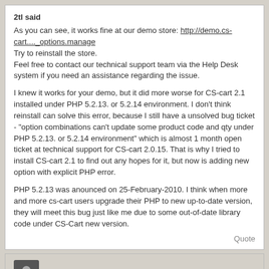2tl said
As you can see, it works fine at our demo store: http://demo.cs-cart...._options.manage
Try to reinstall the store.
Feel free to contact our technical support team via the Help Desk system if you need an assistance regarding the issue.
I knew it works for your demo, but it did more worse for CS-cart 2.1 installed under PHP 5.2.13. or 5.2.14 environment. I don't think reinstall can solve this error, because I still have a unsolved bug ticket - "option combinations can't update some product code and qty under PHP 5.2.13. or 5.2.14 environment" which is almost 1 month open ticket at technical support for CS-cart 2.0.15. That is why I tried to install CS-cart 2.1 to find out any hopes for it, but now is adding new option with explicit PHP error.
PHP 5.2.13 was anounced on 25-February-2010. I think when more and more cs-cart users upgrade their PHP to new up-to-date version, they will meet this bug just like me due to some out-of-date library code under CS-Cart new version.
Quote
mitbar 11 Aug 2010